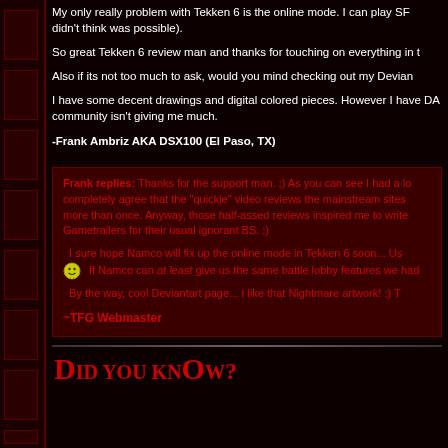My only really problem with Tekken 6 is the online mode. I can play SF didn't think was possible).
So great Tekken 6 review man and thanks for touching on everything in t
Also if its not too much to ask, would you mind checking out my Devian
I have some decent drawings and digital colored pieces. However I have DA community isn't giving me much.
-Frank Ambriz AKA DSX100 (El Paso, TX)
Frank replies: Thanks for the support man. ;) As you can see I had a lo completely agree that the "quickie" video reviews the mainstream sites more than once. Anyway, those half-assed reviews inspired me to write Gametrailers for their usual ignorant BS. ;) I sure hope Namco will fix up the online mode in Tekken 6 soon... Us If Namco can at least give us the same battle lobby features we had By the way, cool Deviantart page... I like that Nightmare artwork! ;) T
~TFG Webmaster
Did you know?